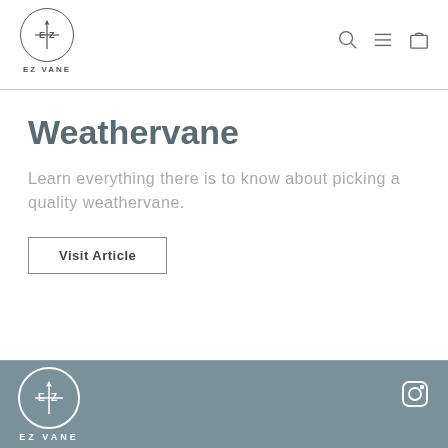[Figure (logo): EZ VANE logo: circle with E|Z text and compass arrow, with text 'EZ VANE' below]
[Figure (other): Navigation icons: search magnifier, hamburger menu, shopping bag]
Weathervane
Learn everything there is to know about picking a quality weathervane.
Visit Article
[Figure (logo): EZ VANE footer logo: circle with E|Z text and compass arrow on grey background, with text 'EZ VANE' below]
[Figure (other): Instagram icon in footer]